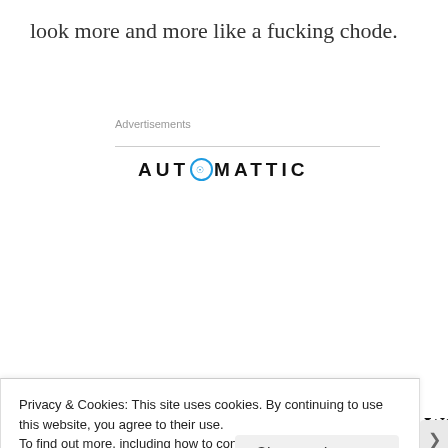look more and more like a fucking chode.
Advertisements
[Figure (logo): Automattic logo with stylized 'O' in blue circle]
[Figure (infographic): Automattic advertisement: 'Build a better web and a better world.' with Apply button and person photo]
Privacy & Cookies: This site uses cookies. By continuing to use this website, you agree to their use.
To find out more, including how to control cookies, see here: Cookie Policy